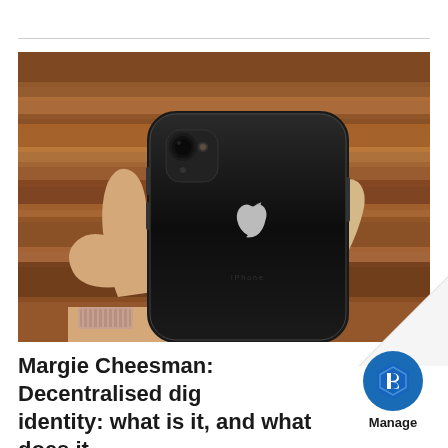[Figure (photo): A hand holding a black Apple iPhone XR showing its back, with the Apple logo visible. The background is a reddish-brown rocky or sandy surface. The person is wearing a rose gold mesh bracelet.]
Margie Cheesman: Decentralised digital identity: what is it, and what does it mean for marginalised populations?